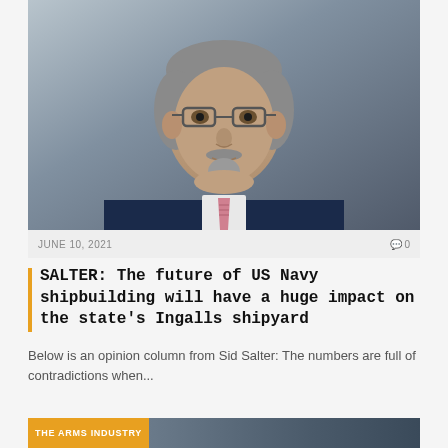[Figure (photo): Portrait photo of a middle-aged man with glasses, gray goatee, wearing a dark navy blazer and striped tie, against a gray background.]
JUNE 10, 2021
0
SALTER: The future of US Navy shipbuilding will have a huge impact on the state's Ingalls shipyard
Below is an opinion column from Sid Salter: The numbers are full of contradictions when...
THE ARMS INDUSTRY